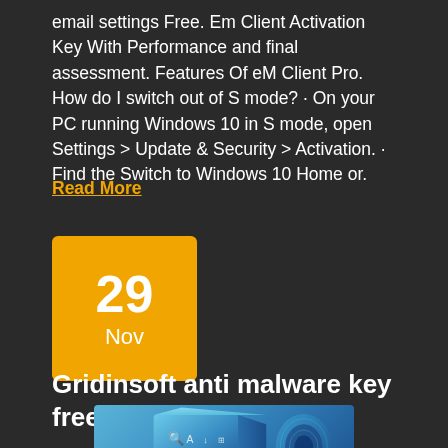email settings Free. Em Client Activation Key With Performance and final assessment. Features Of eM Client Pro. How do I switch out of S mode? · On your PC running Windows 10 in S mode, open Settings > Update & Security > Activation. · Find the Switch to Windows 10 Home or.
Read More
[Figure (other): Date badge showing 29 Nov in gold/yellow color on dark background]
Gridinsoft anti malware key free – Free Activators
[Figure (photo): Product box image for Gridinsoft Anti-Malware software, shown in blue tones with icons]